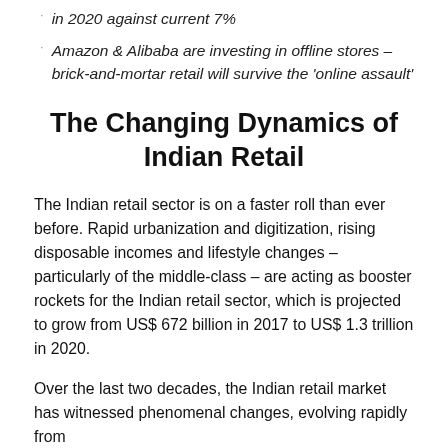in 2020 against current 7%
Amazon & Alibaba are investing in offline stores – brick-and-mortar retail will survive the 'online assault'
The Changing Dynamics of Indian Retail
The Indian retail sector is on a faster roll than ever before. Rapid urbanization and digitization, rising disposable incomes and lifestyle changes – particularly of the middle-class – are acting as booster rockets for the Indian retail sector, which is projected to grow from US$ 672 billion in 2017 to US$ 1.3 trillion in 2020.
Over the last two decades, the Indian retail market has witnessed phenomenal changes, evolving rapidly from